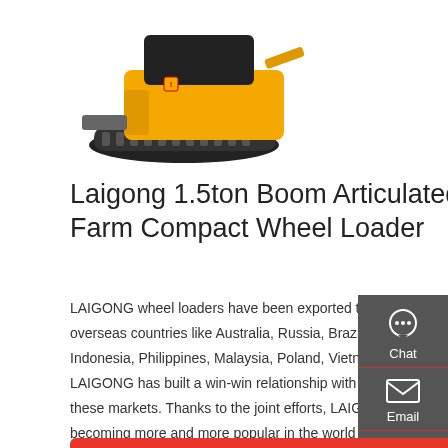[Figure (photo): Yellow and black compact wheel loader / mini excavator on rubber tracks, viewed from above-side angle, on white background]
Laigong 1.5ton Boom Articulated Farm Compact Wheel Loader
LAIGONG wheel loaders have been exported to more than 20 overseas countries like Australia, Russia, Brazil, Argentina, Indonesia, Philippines, Malaysia, Poland, Vietnam etc. LAIGONG has built a win-win relationship with dealers in these markets. Thanks to the joint efforts, LAIGONG is becoming more and more popular in the world Our company
[Figure (infographic): Sidebar with Chat (headset icon), Email (envelope icon), and Contact (speech bubble icon) buttons on dark grey background]
Get a quote